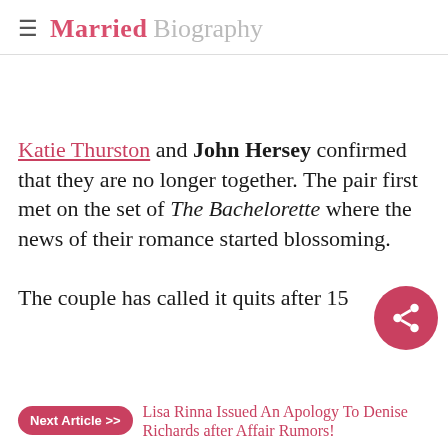Married Biography
Katie Thurston and John Hersey confirmed that they are no longer together. The pair first met on the set of The Bachelorette where the news of their romance started blossoming.
The couple has called it quits after 15
Next Article >> Lisa Rinna Issued An Apology To Denise Richards after Affair Rumors!